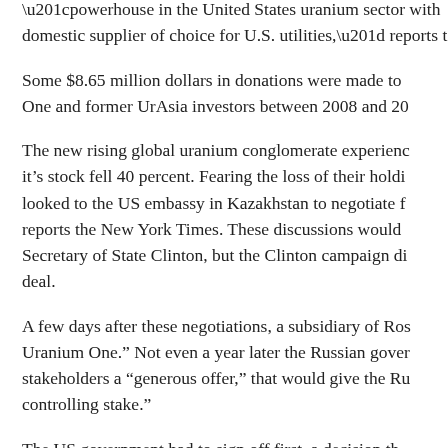“powerhouse in the United States uranium sector with domestic supplier of choice for U.S. utilities,” reports t
Some $8.65 million dollars in donations were made to One and former UrAsia investors between 2008 and 20
The new rising global uranium conglomerate experienc it’s stock fell 40 percent. Fearing the loss of their holdi looked to the US embassy in Kazakhstan to negotiate f reports the New York Times. These discussions would Secretary of State Clinton, but the Clinton campaign di deal.
A few days after these negotiations, a subsidiary of Ros Uranium One.” Not even a year later the Russian gover stakeholders a “generous offer,” that would give the Ru controlling stake.”
The US government had to sign off first, a decision th